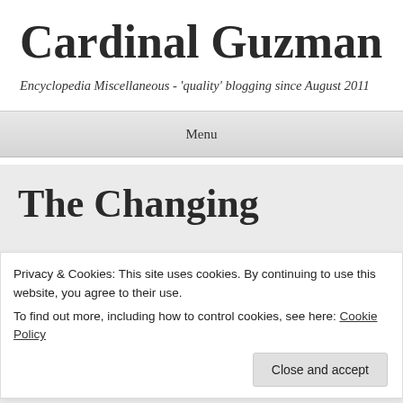Cardinal Guzman
Encyclopedia Miscellaneous - 'quality' blogging since August 2011
Menu
The Changing Seasons
Privacy & Cookies: This site uses cookies. By continuing to use this website, you agree to their use.
To find out more, including how to control cookies, see here: Cookie Policy
Close and accept
One of the few rules for